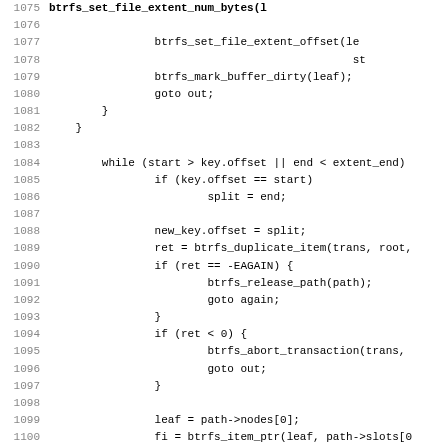[Figure (screenshot): Source code listing (C kernel code for btrfs filesystem) showing lines 1075-1107, with line numbers on the left and code content on the right in monospace font.]